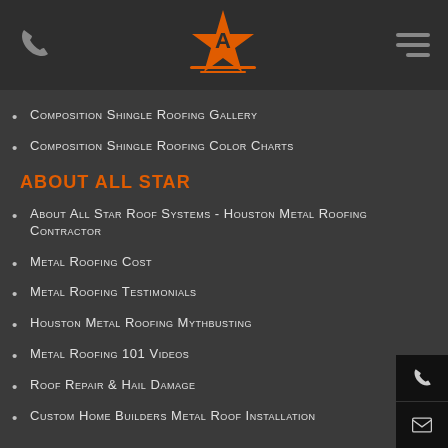All Star Roof Systems header with phone icon, logo, and hamburger menu
Composition Shingle Roofing Gallery
Composition Shingle Roofing Color Charts
ABOUT ALL STAR
About All Star Roof Systems - Houston Metal Roofing Contractor
Metal Roofing Cost
Metal Roofing Testimonials
Houston Metal Roofing Mythbusting
Metal Roofing 101 Videos
Roof Repair & Hail Damage
Custom Home Builders Metal Roof Installation